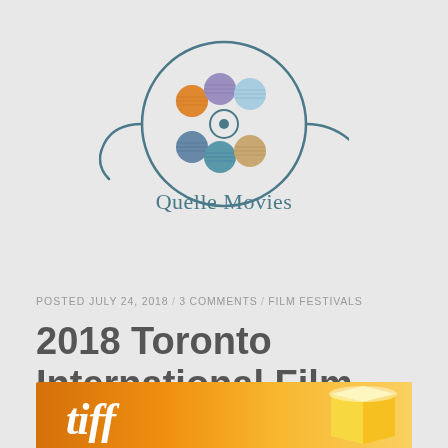[Figure (logo): Quelle Movies logo: a film reel with colorful spheres (orange, purple, light blue, dark blue, teal, tan) and a wave/reel graphic, with 'Quelle Movies' text beneath in teal]
POSTED JULY 24, 2018 / 3 COMMENTS / FILM FESTIVALS
2018 Toronto International Film Festival
[Figure (photo): TIFF (Toronto International Film Festival) banner in orange/yellow gradient with white italic 'tiff' text and a glowing cube/box graphic on the right side]